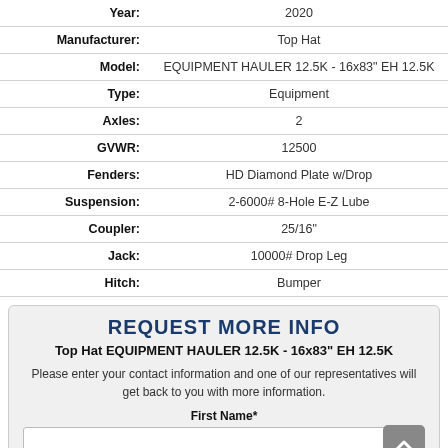| Field | Value |
| --- | --- |
| Year: | 2020 |
| Manufacturer: | Top Hat |
| Model: | EQUIPMENT HAULER 12.5K - 16x83" EH 12.5K |
| Type: | Equipment |
| Axles: | 2 |
| GVWR: | 12500 |
| Fenders: | HD Diamond Plate w/Drop |
| Suspension: | 2-6000# 8-Hole E-Z Lube |
| Coupler: | 25/16" |
| Jack: | 10000# Drop Leg |
| Hitch: | Bumper |
REQUEST MORE INFO
Top Hat EQUIPMENT HAULER 12.5K - 16x83" EH 12.5K
Please enter your contact information and one of our representatives will get back to you with more information.
First Name*
Last Name*